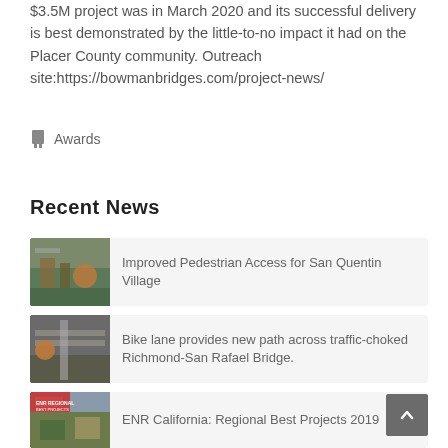$3.5M project was in March 2020 and its successful delivery is best demonstrated by the little-to-no impact it had on the Placer County community. Outreach site:https://bowmanbridges.com/project-news/
Awards
Recent News
Improved Pedestrian Access for San Quentin Village
[Figure (photo): Construction site photo showing workers and equipment]
Bike lane provides new path across traffic-choked Richmond-San Rafael Bridge.
[Figure (photo): Bridge or infrastructure construction photo]
ENR California: Regional Best Projects 2019
[Figure (photo): ENR California Regional Best Projects 2019 thumbnail]